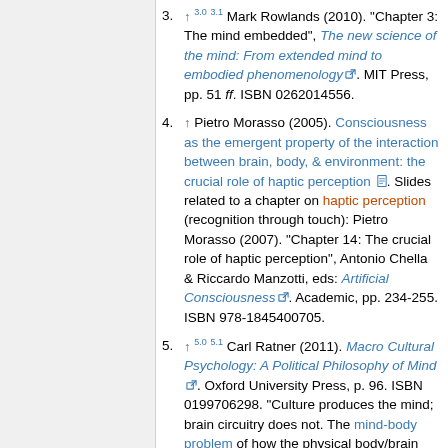3. ↑ 3.0 3.1 Mark Rowlands (2010). "Chapter 3: The mind embedded", The new science of the mind: From extended mind to embodied phenomenology [external link]. MIT Press, pp. 51 ff. ISBN 0262014556.
4. ↑ Pietro Morasso (2005). Consciousness as the emergent property of the interaction between brain, body, & environment: the crucial role of haptic perception [doc link]. Slides related to a chapter on haptic perception (recognition through touch): Pietro Morasso (2007). "Chapter 14: The crucial role of haptic perception", Antonio Chella & Riccardo Manzotti, eds: Artificial Consciousness [external link]. Academic, pp. 234-255. ISBN 978-1845400705.
5. ↑ 5.0 5.1 Carl Ratner (2011). Macro Cultural Psychology: A Political Philosophy of Mind [external link]. Oxford University Press, p. 96. ISBN 0199706298. "Culture produces the mind; brain circuitry does not. The mind-body problem of how the physical body/brain produces mental,